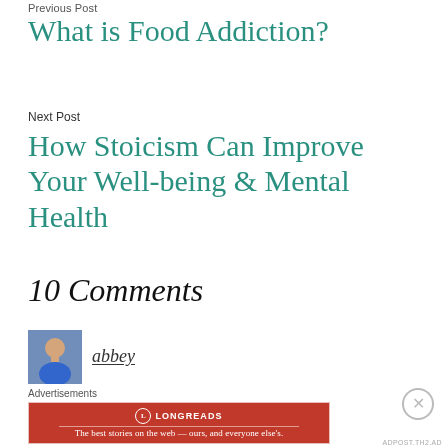Previous Post
What is Food Addiction?
Next Post
How Stoicism Can Improve Your Well-being & Mental Health
10 Comments
[Figure (photo): Avatar/profile photo of commenter abbey — person in blue shirt]
abbey
Advertisements
[Figure (other): Longreads advertisement banner — red background with logo and text: The best stories on the web — ours, and everyone else's.]